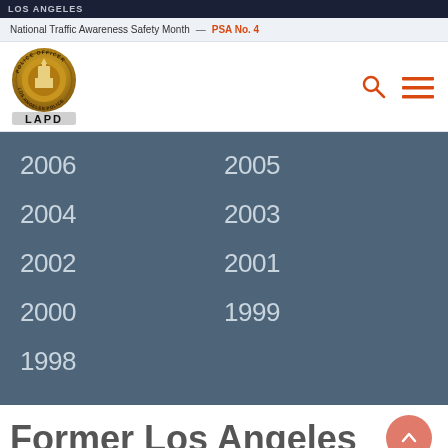LOS ANGELES
National Traffic Awareness Safety Month — PSA No. 4
[Figure (logo): LAPD badge/logo with text LAPD]
| 2006 | 2005 |
| 2004 | 2003 |
| 2002 | 2001 |
| 2000 | 1999 |
| 1998 |  |
Former Los Angeles County Sheriff